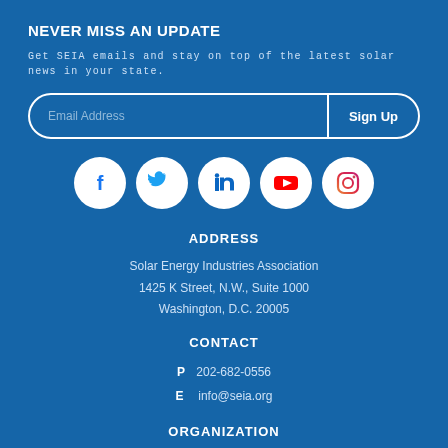NEVER MISS AN UPDATE
Get SEIA emails and stay on top of the latest solar news in your state.
[Figure (infographic): Email signup bar with 'Email Address' placeholder and 'Sign Up' button, styled with white border and rounded corners on blue background]
[Figure (infographic): Row of 5 social media icons (Facebook, Twitter, LinkedIn, YouTube, Instagram) as white circles on blue background]
ADDRESS
Solar Energy Industries Association
1425 K Street, N.W., Suite 1000
Washington, D.C. 20005
CONTACT
P   202-682-0556
E   info@seia.org
ORGANIZATION